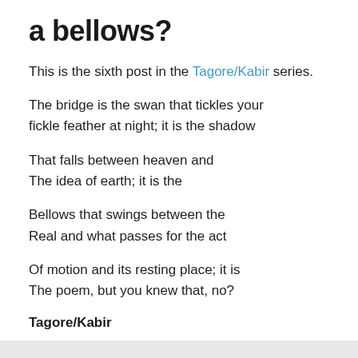a bellows?
This is the sixth post in the Tagore/Kabir series.
The bridge is the swan that tickles your fickle feather at night; it is the shadow
That falls between heaven and The idea of earth; it is the
Bellows that swings between the Real and what passes for the act
Of motion and its resting place; it is The poem, but you knew that, no?
Tagore/Kabir